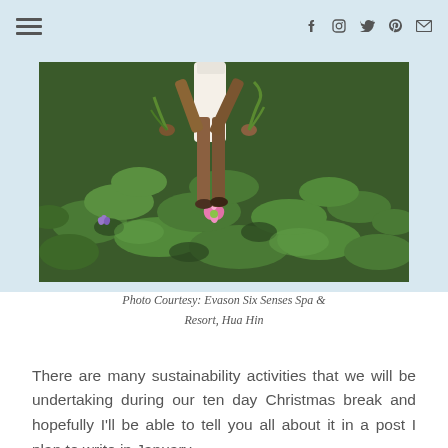with artwork.
[Figure (photo): Person standing in a lotus pond or water lily field, surrounded by green lily pads and pink lotus flowers. The person appears to be harvesting or tending to the plants.]
Photo Courtesy: Evason Six Senses Spa & Resort, Hua Hin
There are many sustainability activities that we will be undertaking during our ten day Christmas break and hopefully I'll be able to tell you all about it in a post I plan to write in January.